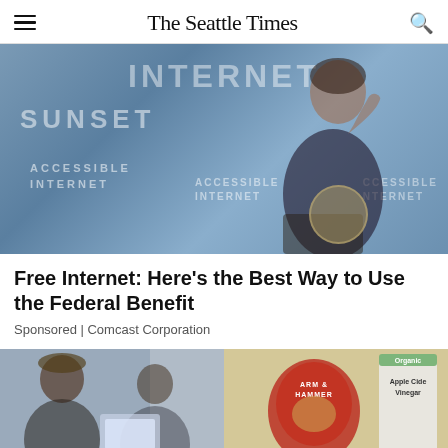The Seattle Times
[Figure (photo): Person speaking at a podium in front of a blue backdrop with text reading INTERNET SUNSET ACCESSIBLE INTERNET]
Free Internet: Here’s the Best Way to Use the Federal Benefit
Sponsored | Comcast Corporation
[Figure (photo): Two people looking at a laptop computer]
[Figure (photo): Arm & Hammer and Apple Cider Vinegar products]